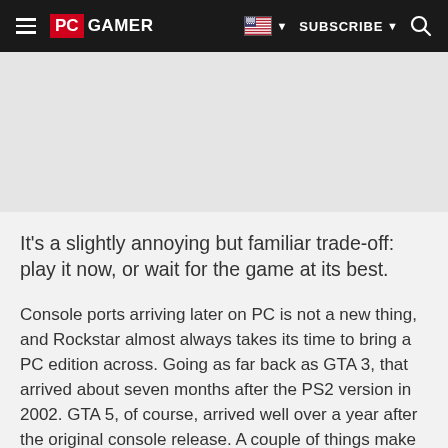PC GAMER | SUBSCRIBE
It's a slightly annoying but familiar trade-off: play it now, or wait for the game at its best.
Console ports arriving later on PC is not a new thing, and Rockstar almost always takes its time to bring a PC edition across. Going as far back as GTA 3, that arrived about seven months after the PS2 version in 2002. GTA 5, of course, arrived well over a year after the original console release. A couple of things make